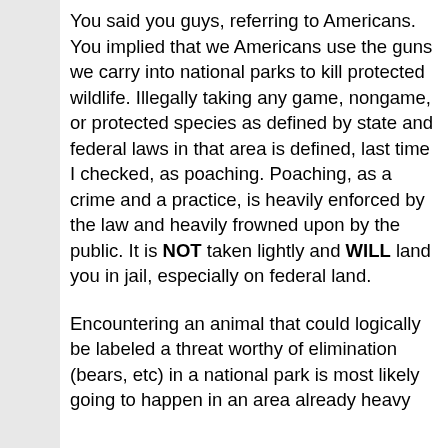You said you guys, referring to Americans. You implied that we Americans use the guns we carry into national parks to kill protected wildlife. Illegally taking any game, nongame, or protected species as defined by state and federal laws in that area is defined, last time I checked, as poaching. Poaching, as a crime and a practice, is heavily enforced by the law and heavily frowned upon by the public. It is NOT taken lightly and WILL land you in jail, especially on federal land.
Encountering an animal that could logically be labeled a threat worthy of elimination (bears, etc) in a national park is most likely going to happen in an area already heavy